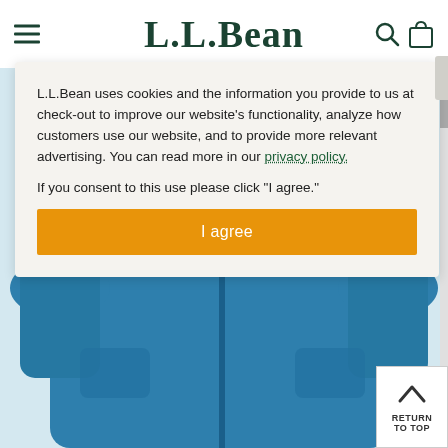L.L.Bean
L.L.Bean uses cookies and the information you provide to us at check-out to improve our website's functionality, analyze how customers use our website, and to provide more relevant advertising. You can read more in our privacy policy.

If you consent to this use please click “I agree.”
I agree
[Figure (photo): Blue insulated jacket/fleece product photo visible behind the cookie consent modal]
RETURN TO TOP